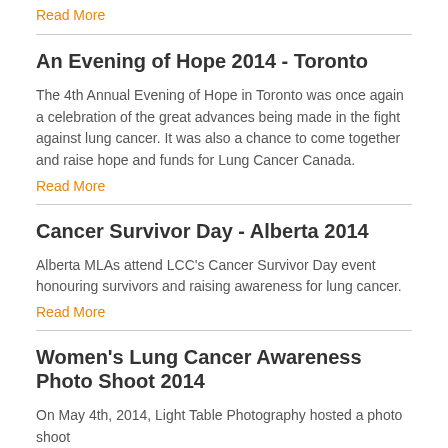Read More
An Evening of Hope 2014 - Toronto
The 4th Annual Evening of Hope in Toronto was once again a celebration of the great advances being made in the fight against lung cancer. It was also a chance to come together and raise hope and funds for Lung Cancer Canada.
Read More
Cancer Survivor Day - Alberta 2014
Alberta MLAs attend LCC's Cancer Survivor Day event honouring survivors and raising awareness for lung cancer.
Read More
Women's Lung Cancer Awareness Photo Shoot 2014
On May 4th, 2014, Light Table Photography hosted a photo shoot